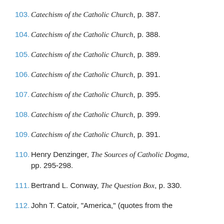103. Catechism of the Catholic Church, p. 387.
104. Catechism of the Catholic Church, p. 388.
105. Catechism of the Catholic Church, p. 389.
106. Catechism of the Catholic Church, p. 391.
107. Catechism of the Catholic Church, p. 395.
108. Catechism of the Catholic Church, p. 399.
109. Catechism of the Catholic Church, p. 391.
110. Henry Denzinger, The Sources of Catholic Dogma, pp. 295-298.
111. Bertrand L. Conway, The Question Box, p. 330.
112. John T. Catoir, "America," (quotes from the